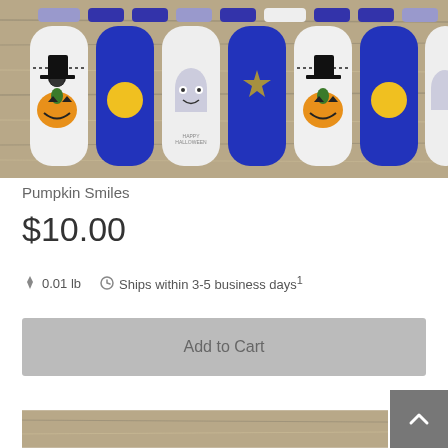[Figure (photo): Product photo of Halloween nail wraps called Pumpkin Smiles. Shows multiple nail-shaped strips in blue and white with Halloween designs including pumpkins wearing witch hats, moons, and ghost faces, displayed on a wood grain surface.]
Pumpkin Smiles
$10.00
0.01 lb   Ships within 3-5 business days¹
Add to Cart
[Figure (photo): Partial bottom image showing more product or background, cropped at bottom of page.]